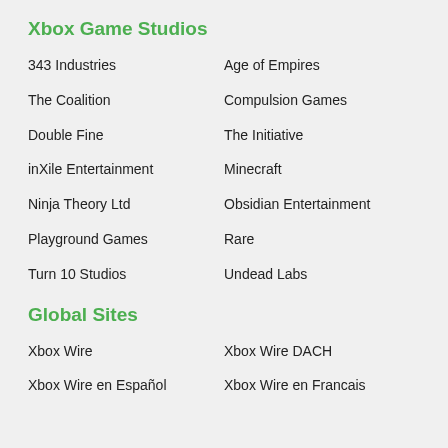Xbox Game Studios
343 Industries
Age of Empires
The Coalition
Compulsion Games
Double Fine
The Initiative
inXile Entertainment
Minecraft
Ninja Theory Ltd
Obsidian Entertainment
Playground Games
Rare
Turn 10 Studios
Undead Labs
Global Sites
Xbox Wire
Xbox Wire DACH
Xbox Wire en Español
Xbox Wire en Francais